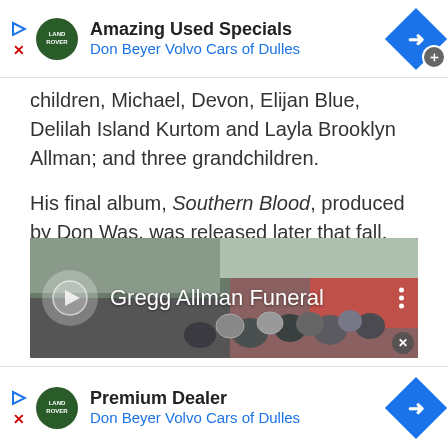[Figure (other): Top advertisement banner: Land Rover logo, 'Amazing Used Specials' title, 'Don Beyer Volvo Cars of Dulles' subtitle, blue diamond arrow icon]
children, Michael, Devon, Elijan Blue, Delilah Island Kurtom and Layla Brooklyn Allman; and three grandchildren.
His final album, Southern Blood, produced by Don Was, was released later that fall.
Watch video footage from the Gregg Allman funeral procession
[Figure (screenshot): Video thumbnail for Gregg Allman Funeral procession showing motorcycles and text overlay 'Gregg Allman Funeral']
[Figure (other): Bottom advertisement banner: Land Rover logo, 'Premium Dealer' title, 'Don Beyer Volvo Cars of Dulles' subtitle, blue diamond arrow icon]